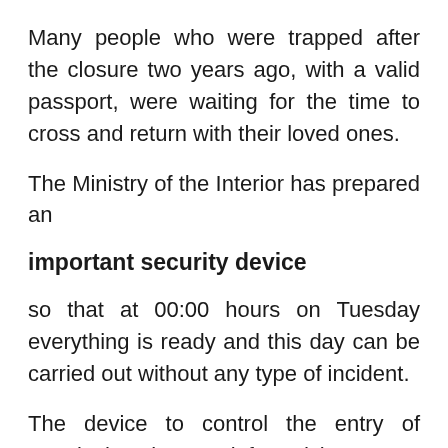Many people who were trapped after the closure two years ago, with a valid passport, were waiting for the time to cross and return with their loved ones.
The Ministry of the Interior has prepared an
important security device
so that at 00:00 hours on Tuesday everything is ready and this day can be carried out without any type of incident.
The device to control the entry of people has been reinforced by agents from the general immigration police station who arrived from Madrid...